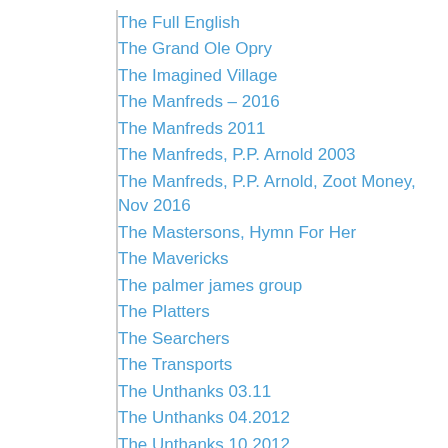The Full English
The Grand Ole Opry
The Imagined Village
The Manfreds – 2016
The Manfreds 2011
The Manfreds, P.P. Arnold 2003
The Manfreds, P.P. Arnold, Zoot Money, Nov 2016
The Mastersons, Hymn For Her
The Mavericks
The palmer james group
The Platters
The Searchers
The Transports
The Unthanks 03.11
The Unthanks 04.2012
The Unthanks 10.2012
The Unthanks 12.11
The Unthanks 2.2015
The Unthanks 2019
The Unthanks 2022